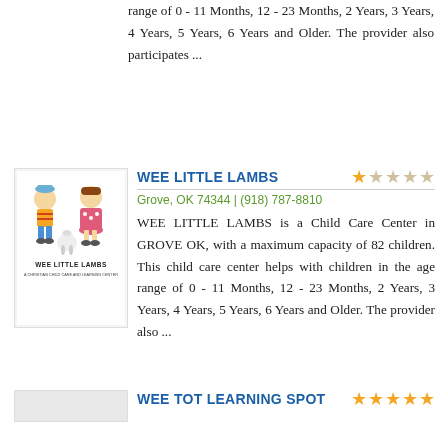range of 0 - 11 Months, 12 - 23 Months, 2 Years, 3 Years, 4 Years, 5 Years, 6 Years and Older. The provider also participates ...
[Figure (illustration): Wee Little Lambs logo with cartoon children and lamb characters, text reading WEE LITTLE LAMBS A CHRISTIAN CHILD CARE AND LEARNING CENTER]
WEE LITTLE LAMBS
Grove, OK 74344 | (918) 787-8810
WEE LITTLE LAMBS is a Child Care Center in GROVE OK, with a maximum capacity of 82 children. This child care center helps with children in the age range of 0 - 11 Months, 12 - 23 Months, 2 Years, 3 Years, 4 Years, 5 Years, 6 Years and Older. The provider also ...
[Figure (illustration): Placeholder/thumbnail image for Wee Tot Learning Spot]
WEE TOT LEARNING SPOT